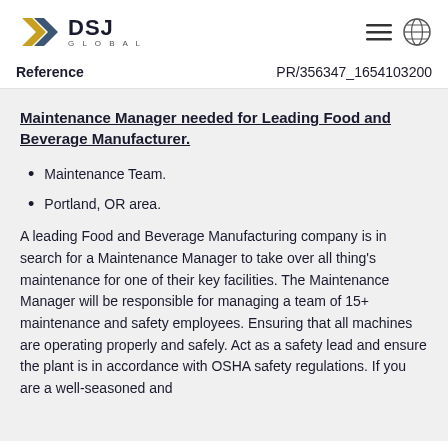[Figure (logo): DSJ Global logo with gold/navy chevron arrow mark and company name]
Reference
PR/356347_1654103200
Maintenance Manager needed for Leading Food and Beverage Manufacturer.
Maintenance Team.
Portland, OR area.
A leading Food and Beverage Manufacturing company is in search for a Maintenance Manager to take over all thing's maintenance for one of their key facilities. The Maintenance Manager will be responsible for managing a team of 15+ maintenance and safety employees. Ensuring that all machines are operating properly and safely. Act as a safety lead and ensure the plant is in accordance with OSHA safety regulations. If you are a well-seasoned and